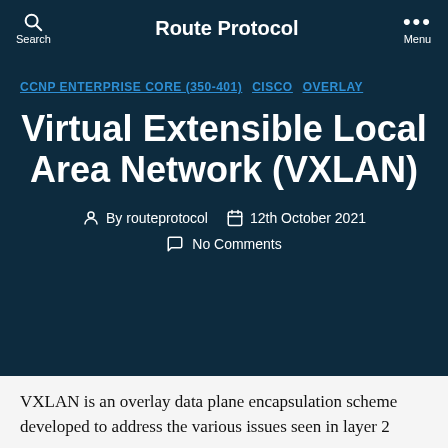Route Protocol
CCNP ENTERPRISE CORE (350-401)   CISCO   OVERLAY
Virtual Extensible Local Area Network (VXLAN)
By routeprotocol   12th October 2021   No Comments
VXLAN is an overlay data plane encapsulation scheme developed to address the various issues seen in layer 2